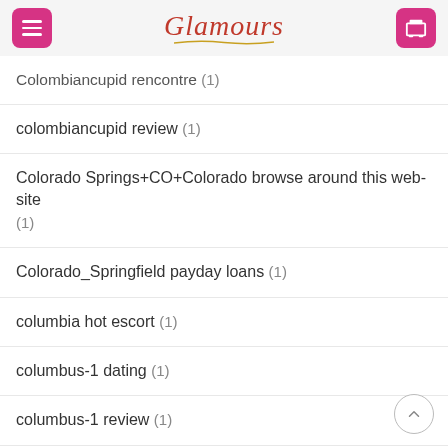Glamours
Colombiancupid rencontre (1)
colombiancupid review (1)
Colorado Springs+CO+Colorado browse around this web-site (1)
Colorado_Springfield payday loans (1)
columbia hot escort (1)
columbus-1 dating (1)
columbus-1 review (1)
compatible partners de review (1)
compatible partners de reviews (1)